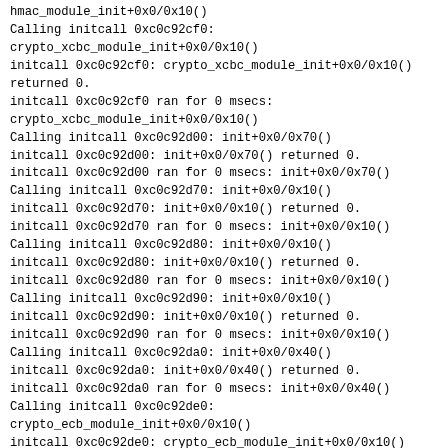hmac_module_init+0x0/0x10()
Calling initcall 0xc0c92cf0:
crypto_xcbc_module_init+0x0/0x10()
initcall 0xc0c92cf0: crypto_xcbc_module_init+0x0/0x10() returned 0.
initcall 0xc0c92cf0 ran for 0 msecs:
crypto_xcbc_module_init+0x0/0x10()
Calling initcall 0xc0c92d00: init+0x0/0x70()
initcall 0xc0c92d00: init+0x0/0x70() returned 0.
initcall 0xc0c92d00 ran for 0 msecs: init+0x0/0x70()
Calling initcall 0xc0c92d70: init+0x0/0x10()
initcall 0xc0c92d70: init+0x0/0x10() returned 0.
initcall 0xc0c92d70 ran for 0 msecs: init+0x0/0x10()
Calling initcall 0xc0c92d80: init+0x0/0x10()
initcall 0xc0c92d80: init+0x0/0x10() returned 0.
initcall 0xc0c92d80 ran for 0 msecs: init+0x0/0x10()
Calling initcall 0xc0c92d90: init+0x0/0x10()
initcall 0xc0c92d90: init+0x0/0x10() returned 0.
initcall 0xc0c92d90 ran for 0 msecs: init+0x0/0x10()
Calling initcall 0xc0c92da0: init+0x0/0x40()
initcall 0xc0c92da0: init+0x0/0x40() returned 0.
initcall 0xc0c92da0 ran for 0 msecs: init+0x0/0x40()
Calling initcall 0xc0c92de0:
crypto_ecb_module_init+0x0/0x10()
initcall 0xc0c92de0: crypto_ecb_module_init+0x0/0x10() returned 0.
initcall 0xc0c92de0 ran for 0 msecs:
crypto_ecb_module_init+0x0/0x10()
Calling initcall 0xc0c92df0:
crypto_cbc_module_init+0x0/0x10()